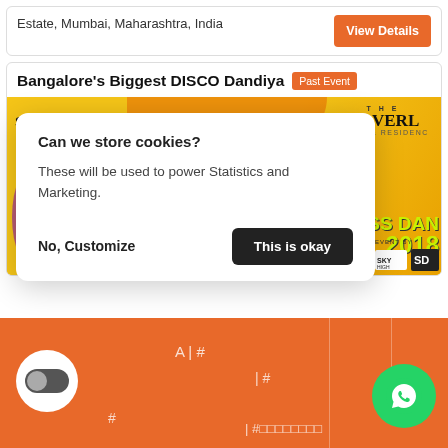Estate, Mumbai, Maharashtra, India
View Details
Bangalore's Biggest DISCO Dandiya
Past Event
[Figure (photo): Event poster for Bangalore's Biggest DISCO Dandiya 2018 at The Waverly Hotel & Residence, featuring DJs Sudipa, Nosson, Esha, Sash]
Can we store cookies?
These will be used to power Statistics and Marketing.
No, Customize
This is okay
A | #
| #
#
| #□□□□□□□□